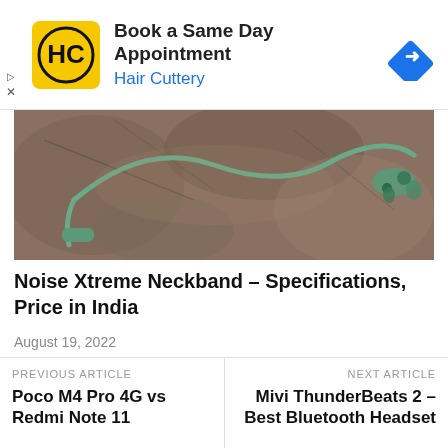[Figure (other): Advertisement banner: Hair Cuttery logo (HC in black on yellow background), text 'Book a Same Day Appointment' and 'Hair Cuttery' in blue, navigation arrow icon in blue diamond shape]
[Figure (photo): Photo of a green Noise Xtreme neckband Bluetooth earphone laid on a rocky stone surface]
Noise Xtreme Neckband – Specifications, Price in India
August 19, 2022
PREVIOUS ARTICLE
Poco M4 Pro 4G vs Redmi Note 11
NEXT ARTICLE
Mivi ThunderBeats 2 – Best Bluetooth Headset